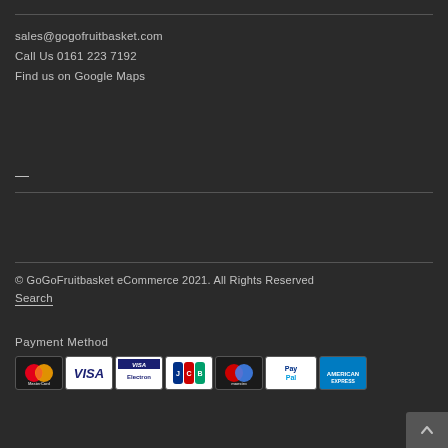sales@gogofruitbasket.com
Call Us 0161 223 7192
Find us on Google Maps
—
© GoGoFruitbasket eCommerce 2021. All Rights Reserved
Search
Payment Method
[Figure (logo): Payment method icons: Mastercard, Visa, Visa Electron, JCB, Maestro, PayPal, American Express]